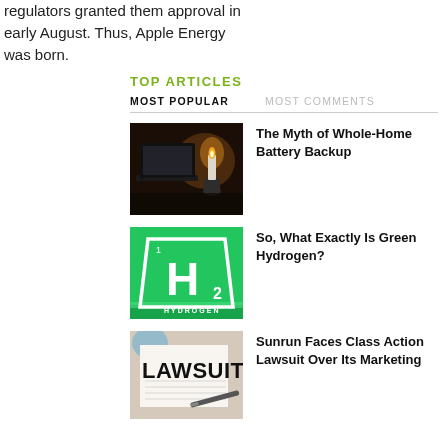regulators granted them approval in early August. Thus, Apple Energy was born.
TOP ARTICLES
MOST POPULAR   MOST COMMENTS
[Figure (photo): Dark photo of a laptop and a lit candle in a dark room]
The Myth of Whole-Home Battery Backup
[Figure (photo): Green periodic-table style tile showing H2 Hydrogen symbol]
So, What Exactly Is Green Hydrogen?
[Figure (photo): Paper document with LAWSUIT text stamped on it and a pen nearby]
Sunrun Faces Class Action Lawsuit Over Its Marketing